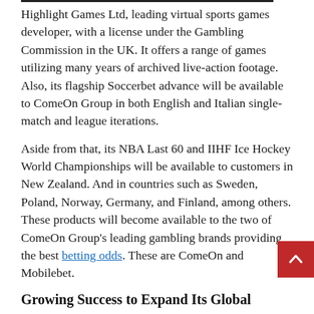Highlight Games Ltd, leading virtual sports games developer, with a license under the Gambling Commission in the UK. It offers a range of games utilizing many years of archived live-action footage. Also, its flagship Soccerbet advance will be available to ComeOn Group in both English and Italian single-match and league iterations.
Aside from that, its NBA Last 60 and IIHF Ice Hockey World Championships will be available to customers in New Zealand. And in countries such as Sweden, Poland, Norway, Germany, and Finland, among others. These products will become available to the two of ComeOn Group's leading gambling brands providing the best betting odds. These are ComeOn and Mobilebet.
Growing Success to Expand Its Global